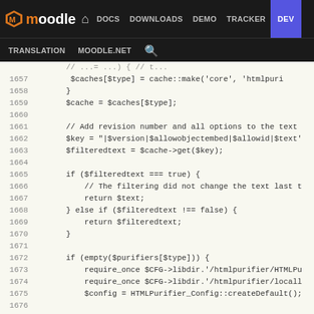Moodle | DOCS | DOWNLOADS | DEMO | TRACKER | DEV | TRANSLATION | MOODLE.NET
[Figure (screenshot): Moodle developer site navigation bar with logo and nav links including DOCS, DOWNLOADS, DEMO, TRACKER, DEV (active/highlighted), TRANSLATION, MOODLE.NET, and search icon]
PHP source code viewer showing lines 1657-1682 of a Moodle PHP file dealing with HTML purifier caching logic. Lines include cache assignments, key generation with version and options, filteredtext cache lookup, conditional returns, HTMLPurifier initialization with require_once statements, and HTMLPurifier_Config settings.